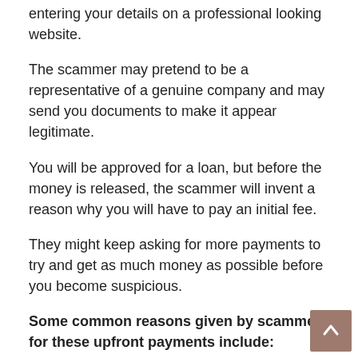entering your details on a professional looking website.
The scammer may pretend to be a representative of a genuine company and may send you documents to make it appear legitimate.
You will be approved for a loan, but before the money is released, the scammer will invent a reason why you will have to pay an initial fee.
They might keep asking for more payments to try and get as much money as possible before you become suspicious.
Some common reasons given by scammers for these upfront payments include:
Payment Release Fee
Verification fees
Loan company fee
Processing fee
Guarantor fees